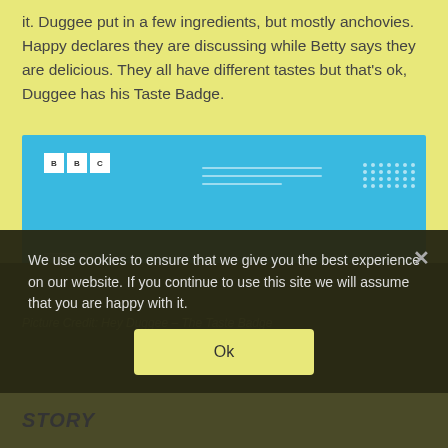it. Duggee put in a few ingredients, but mostly anchovies. Happy declares they are discussing while Betty says they are delicious. They all have different tastes but that's ok, Duggee has his Taste Badge.
[Figure (screenshot): Screenshot from Hey Duggee BBC show showing a kitchen scene with blue background, BBC logo, chef hat, character with brown head, grid dots, and various kitchen elements.]
Picture Credit: Hey Duggee – The Taste Badge
We use cookies to ensure that we give you the best experience on our website. If you continue to use this site we will assume that you are happy with it.
Ok
STORY